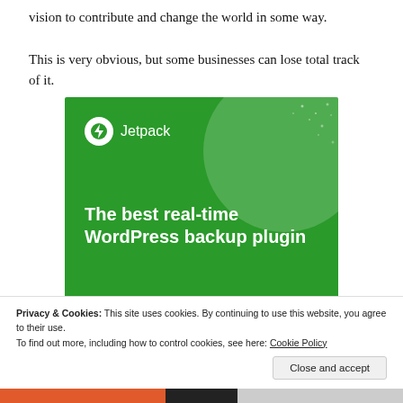vision to contribute and change the world in some way. This is very obvious, but some businesses can lose total track of it.
[Figure (screenshot): Jetpack advertisement banner: green background with Jetpack logo (lightning bolt icon), decorative circle and dot pattern, headline 'The best real-time WordPress backup plugin', and a 'Back up your site' button.]
Privacy & Cookies: This site uses cookies. By continuing to use this website, you agree to their use.
To find out more, including how to control cookies, see here: Cookie Policy
Close and accept